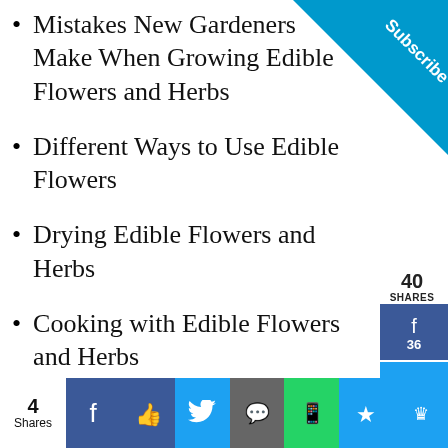Mistakes New Gardeners Make When Growing Edible Flowers and Herbs
Different Ways to Use Edible Flowers
Drying Edible Flowers and Herbs
Cooking with Edible Flowers and Herbs
[Figure (infographic): Subscribe corner ribbon in blue]
40 SHARES
[Figure (infographic): Social share sidebar with Facebook (36), Twitter, Pinterest (4) buttons]
No compatible source was found for this media.
Ashburn OPEN 10:30AM–9PM
[Figure (infographic): Bottom share bar with 4 Shares, Facebook, Like, Twitter, SMS, WhatsApp, Star, Crown buttons]